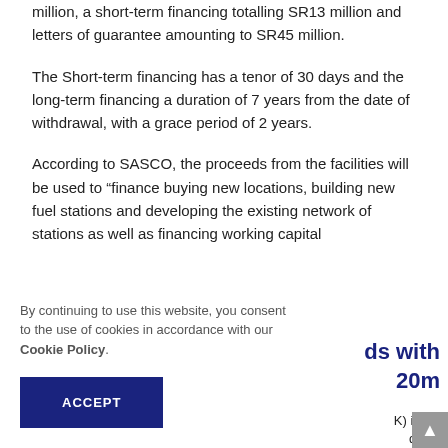million, a short-term financing totalling SR13 million and letters of guarantee amounting to SR45 million.
The Short-term financing has a tenor of 30 days and the long-term financing a duration of 7 years from the date of withdrawal, with a grace period of 2 years.
According to SASCO, the proceeds from the facilities will be used to “finance buying new locations, building new fuel stations and developing the existing network of stations as well as financing working capital
By continuing to use this website, you consent to the use of cookies in accordance with our Cookie Policy.
ACCEPT
ds with
20m
K) issued
ds and